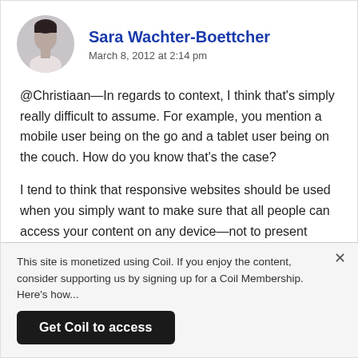Sara Wachter-Boettcher
March 8, 2012 at 2:14 pm
@Christiaan—In regards to context, I think that's simply really difficult to assume. For example, you mention a mobile user being on the go and a tablet user being on the couch. How do you know that's the case?
I tend to think that responsive websites should be used when you simply want to make sure that all people can access your content on any device—not to present different content to different contexts. You have to assume too much.
However, future-ready content isn't just about responsive design. If
This site is monetized using Coil. If you enjoy the content, consider supporting us by signing up for a Coil Membership. Here's how...
Get Coil to access